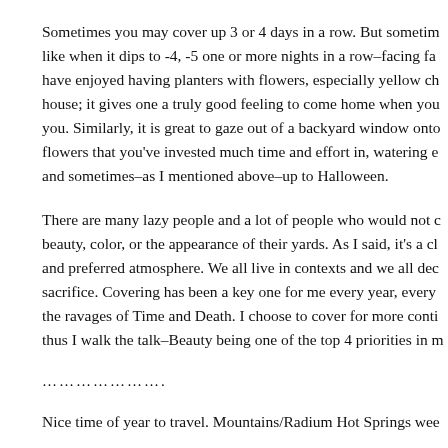Sometimes you may cover up 3 or 4 days in a row. But sometimes like when it dips to -4, -5 one or more nights in a row–facing fa have enjoyed having planters with flowers, especially yellow ch house; it gives one a truly good feeling to come home when you you. Similarly, it is great to gaze out of a backyard window onto flowers that you've invested much time and effort in, watering e and sometimes–as I mentioned above–up to Halloween.
There are many lazy people and a lot of people who would not c beauty, color, or the appearance of their yards. As I said, it's a ch and preferred atmosphere. We all live in contexts and we all dec sacrifice. Covering has been a key one for me every year, every the ravages of Time and Death. I choose to cover for more conti thus I walk the talk–Beauty being one of the top 4 priorities in m
………………….
Nice time of year to travel. Mountains/Radium Hot Springs wee